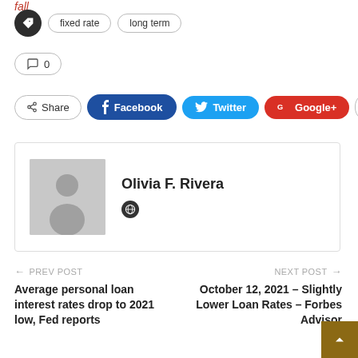fall
fixed rate  long term
0
Share  Facebook  Twitter  Google+
Olivia F. Rivera
← PREV POST
Average personal loan interest rates drop to 2021 low, Fed reports
NEXT POST →
October 12, 2021 – Slightly Lower Loan Rates – Forbes Advisor